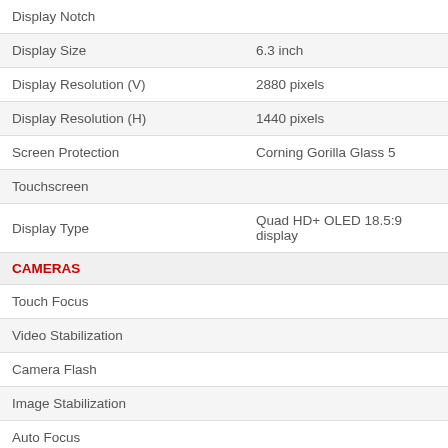| Feature | Value |
| --- | --- |
| Display Notch |  |
| Display Size | 6.3 inch |
| Display Resolution (V) | 2880 pixels |
| Display Resolution (H) | 1440 pixels |
| Screen Protection | Corning Gorilla Glass 5 |
| Touchscreen |  |
| Display Type | Quad HD+ OLED 18.5:9 display |
| CAMERAS |  |
| Touch Focus |  |
| Video Stabilization |  |
| Camera Flash |  |
| Image Stabilization |  |
| Auto Focus |  |
| Smile Detection |  |
| Face Detection |  |
| Rear Camera | 12.2 MP |
| Front Camera | 8+8 MP |